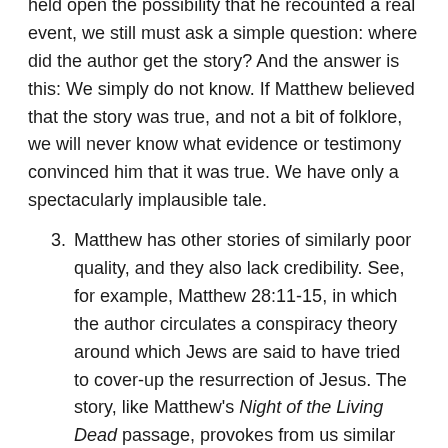held open the possibility that he recounted a real event, we still must ask a simple question: where did the author get the story? And the answer is this: We simply do not know. If Matthew believed that the story was true, and not a bit of folklore, we will never know what evidence or testimony convinced him that it was true. We have only a spectacularly implausible tale.
3. Matthew has other stories of similarly poor quality, and they also lack credibility. See, for example, Matthew 28:11-15, in which the author circulates a conspiracy theory around which Jews are said to have tried to cover-up the resurrection of Jesus. The story, like Matthew's Night of the Living Dead passage, provokes from us similar questions: Where did Matthew get the story? How does he know the story is true? How do we know whether Matthew isn't just circulating a grotesque and fantastic antisemitic rumor?